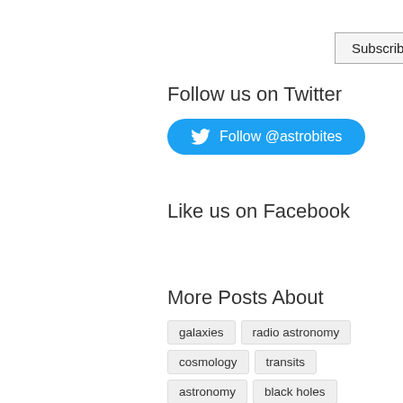Subscribe
Follow us on Twitter
Follow @astrobites
Like us on Facebook
More Posts About
galaxies
radio astronomy
cosmology
transits
astronomy
black holes
stellar evolution
Milky Way
star formation
spectroscopy
protoplanetary disks
AGN
theory
simulations
gravitational waves